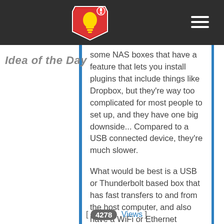Idea of the Day
some NAS boxes that have a feature that lets you install plugins that include things like Dropbox, but they're way too complicated for most people to set up, and they have one big downside... Compared to a USB connected device, they're much slower.

What would be best is a USB or Thunderbolt based box that has fast transfers to and from the host computer, and also have a WiFi or Ethernet connection to sync with Dropbox in th... [More]
Continue...A Dropbox BOX - A FAST USB Box That Syncs Even When Your Computer Is Off...
[ 4278 Views ]